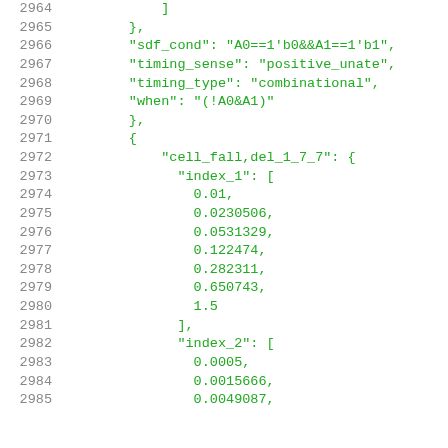2964    ]
2965    },
2966    "sdf_cond": "A0==1'b0&&A1==1'b1",
2967    "timing_sense": "positive_unate",
2968    "timing_type": "combinational",
2969    "when": "(!A0&A1)"
2970    },
2971    {
2972    "cell_fall,del_1_7_7": {
2973    "index_1": [
2974    0.01,
2975    0.0230506,
2976    0.0531329,
2977    0.122474,
2978    0.282311,
2979    0.650743,
2980    1.5
2981    ],
2982    "index_2": [
2983    0.0005,
2984    0.0015666,
2985    0.0049087,